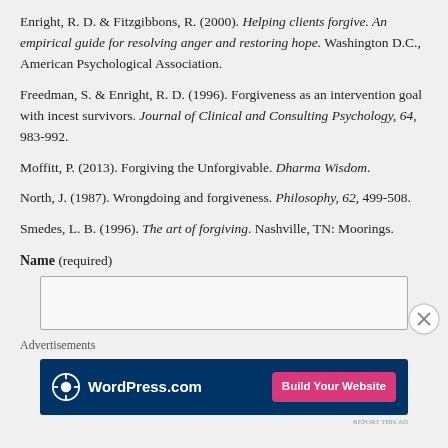Enright, R. D. & Fitzgibbons, R. (2000). Helping clients forgive. An empirical guide for resolving anger and restoring hope. Washington D.C., American Psychological Association.
Freedman, S. & Enright, R. D. (1996). Forgiveness as an intervention goal with incest survivors. Journal of Clinical and Consulting Psychology, 64, 983-992.
Moffitt, P. (2013). Forgiving the Unforgivable. Dharma Wisdom.
North, J. (1987). Wrongdoing and forgiveness. Philosophy, 62, 499-508.
Smedes, L. B. (1996). The art of forgiving. Nashville, TN: Moorings.
Name (required)
Advertisements
[Figure (other): WordPress.com advertisement banner with logo and 'Build Your Website' button]